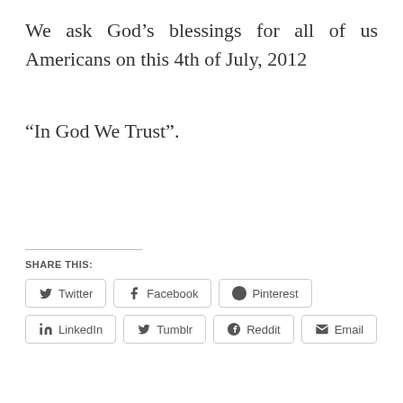We ask God’s blessings for all of us Americans on this 4th of July, 2012
“In God We Trust”.
SHARE THIS:
Twitter
Facebook
Pinterest
LinkedIn
Tumblr
Reddit
Email